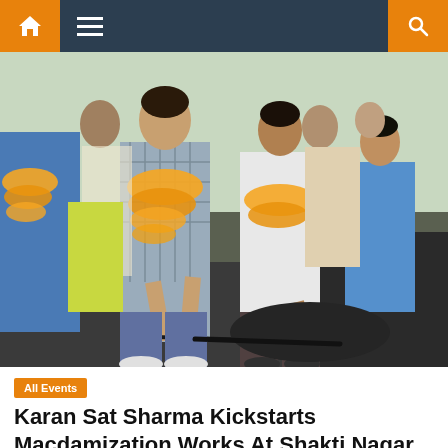Navigation bar with home, menu, and search icons
[Figure (photo): People wearing marigold garlands during a road inauguration ceremony. A man in a checked shirt is using a tool on freshly laid asphalt/tarmac. Others in formal attire stand around him.]
All Events
Karan Sat Sharma Kickstarts Macdamization Works At Shakti Nagar Road
October 24, 2016  ikbio  Comments Off